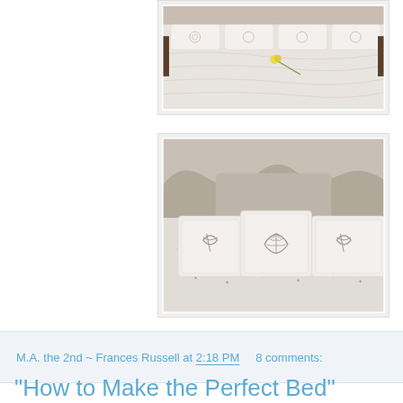[Figure (photo): Overhead view of a white bed with white embroidered bedding and a single yellow rose placed on the comforter. Dark wooden nightstands visible on the sides.]
[Figure (photo): Close-up of a white ornate headboard with decorative white embroidered throw pillows featuring shell and monogram designs, arranged on white bedding with decorative stitching.]
M.A. the 2nd ~ Frances Russell at 2:18 PM     8 comments:
"How to Make the Perfect Bed"